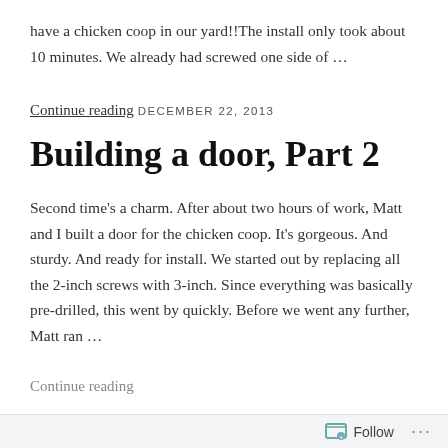have a chicken coop in our yard!!The install only took about 10 minutes. We already had screwed one side of …
Continue reading
DECEMBER 22, 2013
Building a door, Part 2
Second time's a charm. After about two hours of work, Matt and I built a door for the chicken coop. It's gorgeous. And sturdy. And ready for install. We started out by replacing all the 2-inch screws with 3-inch. Since everything was basically pre-drilled, this went by quickly. Before we went any further, Matt ran …
Continue reading
Follow ...